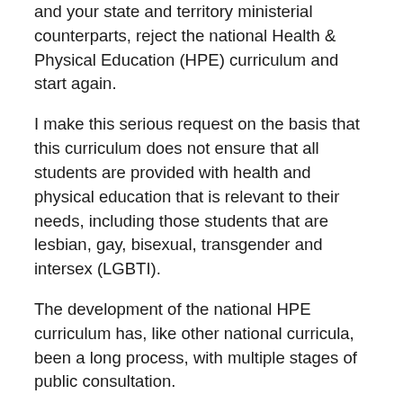and your state and territory ministerial counterparts, reject the national Health & Physical Education (HPE) curriculum and start again.
I make this serious request on the basis that this curriculum does not ensure that all students are provided with health and physical education that is relevant to their needs, including those students that are lesbian, gay, bisexual, transgender and intersex (LGBTI).
The development of the national HPE curriculum has, like other national curricula, been a long process, with multiple stages of public consultation.
This has included:
An initial draft in December 2012 (see my submission to this consultation here: